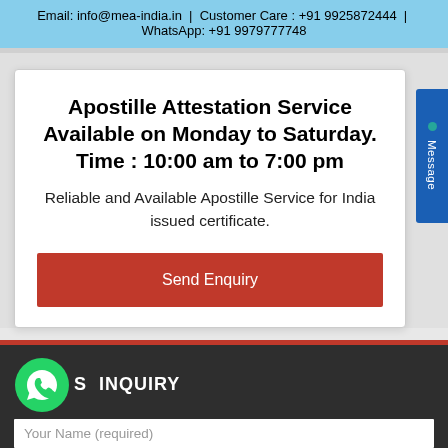Email: info@mea-india.in | Customer Care : +91 9925872444 | WhatsApp: +91 9979777748
Apostille Attestation Service Available on Monday to Saturday. Time : 10:00 am to 7:00 pm
Reliable and Available Apostille Service for India issued certificate.
Send Enquiry
SEND INQUIRY
Your Name (required)